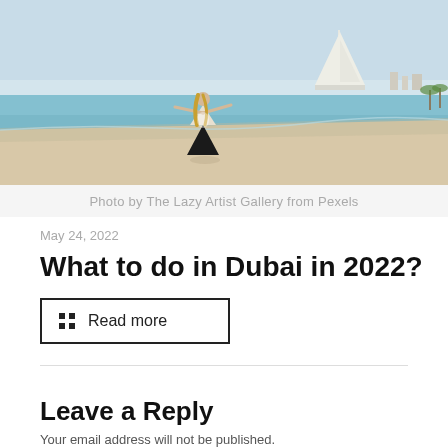[Figure (photo): A woman standing on a beach with arms outstretched, the Burj Al Arab hotel visible in the background against a clear sky, shallow turquoise water and white sand in the foreground.]
Photo by The Lazy Artist Gallery from Pexels
May 24, 2022
What to do in Dubai in 2022?
Read more
Leave a Reply
Your email address will not be published.